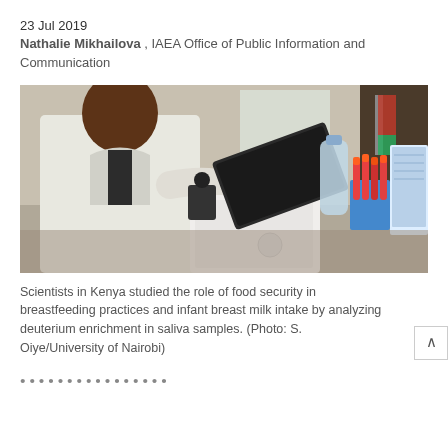23 Jul 2019
Nathalie Mikhailova , IAEA Office of Public Information and Communication
[Figure (photo): A scientist in a white lab coat and gloves operates laboratory equipment including a scanner/analyzer device with red-topped test tubes in a rack and a computer monitor visible in the background.]
Scientists in Kenya studied the role of food security in breastfeeding practices and infant breast milk intake by analyzing deuterium enrichment in saliva samples. (Photo: S. Oiye/University of Nairobi)
...